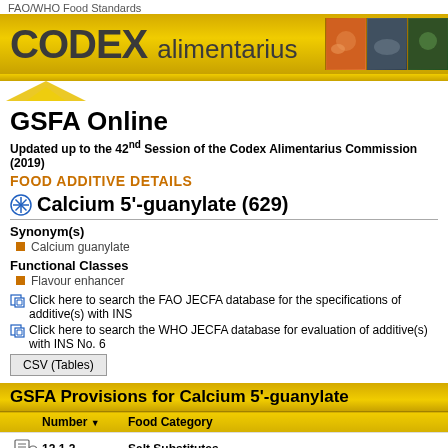FAO/WHO Food Standards
[Figure (logo): Codex Alimentarius logo with gold banner and food images]
GSFA Online
Updated up to the 42nd Session of the Codex Alimentarius Commission (2019)
FOOD ADDITIVE DETAILS
Calcium 5'-guanylate (629)
Synonym(s)
Calcium guanylate
Functional Classes
Flavour enhancer
Click here to search the FAO JECFA database for the specifications of additive(s) with INS
Click here to search the WHO JECFA database for evaluation of additive(s) with INS No. 6
CSV (Tables)
GSFA Provisions for Calcium 5'-guanylate
| Number | Food Category |
| --- | --- |
| 12.1.2 | Salt Substitutes |